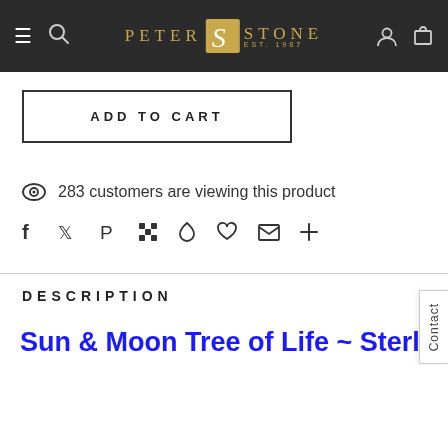Peter Stone Est. 1987 — navigation bar with hamburger, search, user, and cart icons
ADD TO CART
283 customers are viewing this product
[Figure (other): Social sharing icons row: Facebook, Twitter, Pinterest, Grid, Fancy, Fancy heart, Email, Plus]
DESCRIPTION
Sun & Moon Tree of Life ~ Sterling